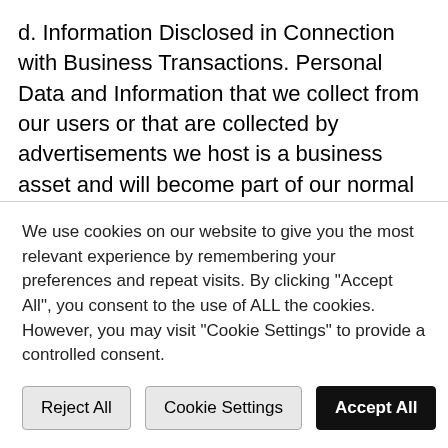d. Information Disclosed in Connection with Business Transactions. Personal Data and Information that we collect from our users or that are collected by advertisements we host is a business asset and will become part of our normal business records. If we are acquired by a third party as a result of a transaction such as a merger, acquisition, reorganization or asset sale or if our assets are acquired by a third party in the event of dissolution or liquidation or in the event enter bankruptcy, some or all of our assets, including your Personal Data and Information, will be disclosed or
We use cookies on our website to give you the most relevant experience by remembering your preferences and repeat visits. By clicking "Accept All", you consent to the use of ALL the cookies. However, you may visit "Cookie Settings" to provide a controlled consent.
Reject All | Cookie Settings | Accept All